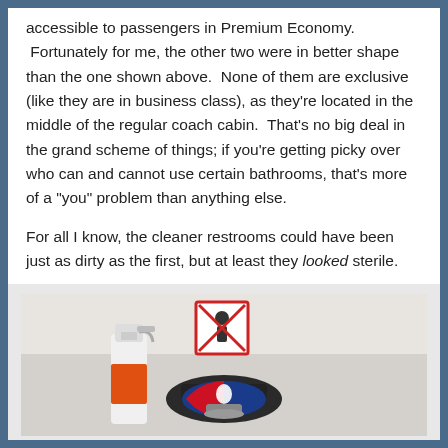accessible to passengers in Premium Economy. Fortunately for me, the other two were in better shape than the one shown above.  None of them are exclusive (like they are in business class), as they're located in the middle of the regular coach cabin.  That's no big deal in the grand scheme of things; if you're getting picky over who can and cannot use certain bathrooms, that's more of a "you" problem than anything else.
For all I know, the cleaner restrooms could have been just as dirty as the first, but at least they looked sterile.
[Figure (photo): Photo of airplane bathroom interior showing a spray bottle and a faucet/tap fixture with a no-drinking water symbol sign above and an MLB-style logo sticker on the tap.]